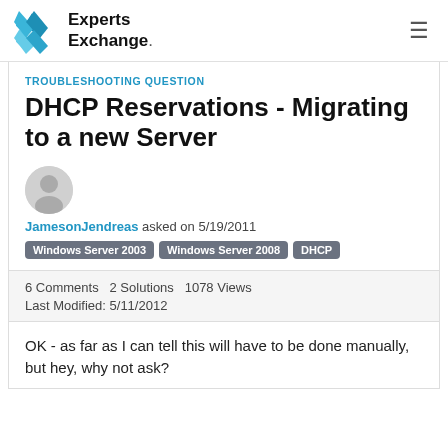[Figure (logo): Experts Exchange logo with blue geometric X icon and bold text 'Experts Exchange.']
TROUBLESHOOTING QUESTION
DHCP Reservations - Migrating to a new Server
[Figure (illustration): Generic user avatar circle icon in gray]
JamesonJendreas asked on 5/19/2011
Windows Server 2003
Windows Server 2008
DHCP
6 Comments  2 Solutions  1078 Views
Last Modified: 5/11/2012
OK - as far as I can tell this will have to be done manually, but hey, why not ask?